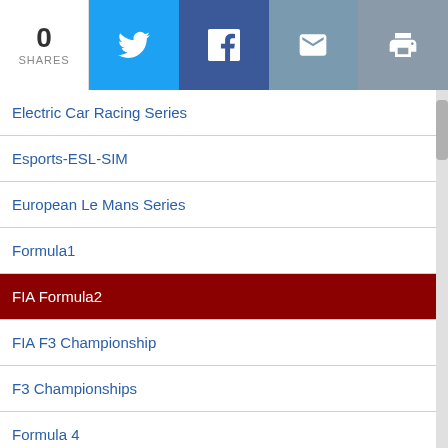0 SHARES | Twitter | Facebook | Email | Print
Electric Car Racing Series
Esports-ESL-SIM
European Le Mans Series
Formula1
FIA Formula2
FIA F3 Championship
F3 Championships
Formula 4
ABB FIA Formula E
FIA WEC
FIA-WTCR
Formula Master
Formula Renault 1.6
Formula Renault / Regional
Formula Renault 3.5 V8
FFSA
GP Masters